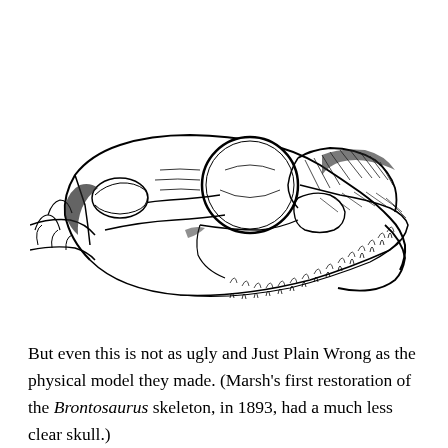[Figure (illustration): Black and white line drawing of a dinosaur skull (Brontosaurus/sauropod) in lateral view, showing teeth, large orbit, and skull bones. The skull faces right. The image is a scientific restoration/reconstruction illustration.]
But even this is not as ugly and Just Plain Wrong as the physical model they made. (Marsh's first restoration of the Brontosaurus skeleton, in 1893, had a much less clear skull.)